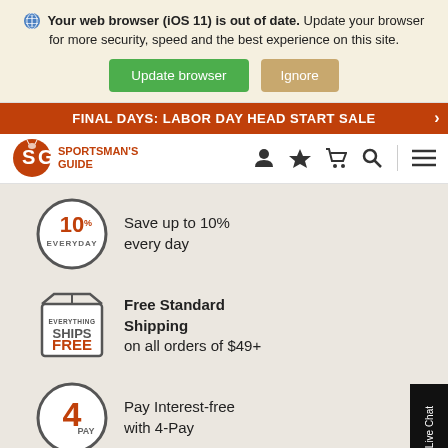Your web browser (iOS 11) is out of date. Update your browser for more security, speed and the best experience on this site.
Update browser | Ignore
FINAL DAYS: LABOR DAY HEAD START SALE
[Figure (logo): Sportsman's Guide logo with SG letters and deer icon]
Save up to 10% every day
Free Standard Shipping on all orders of $49+
Pay Interest-free with 4-Pay